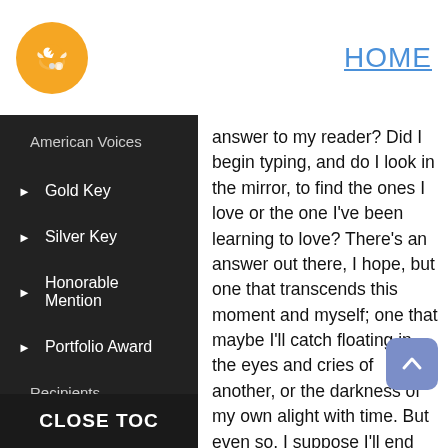[Figure (logo): Orange circular logo with white winged figure]
HOME
American Voices
► Gold Key
► Silver Key
► Honorable Mention
► Portfolio Award
Recipients
answer to my reader? Did I begin typing, and do I look in the mirror, to find the ones I love or the one I've been learning to love? There's an answer out there, I hope, but one that transcends this moment and myself; one that maybe I'll catch floating in the eyes and cries of another, or the darkness of my own alight with time. But even so, I suppose I'll end this essay with a guess: that the reason I live is for this alone, for losing and
CLOSE TOC